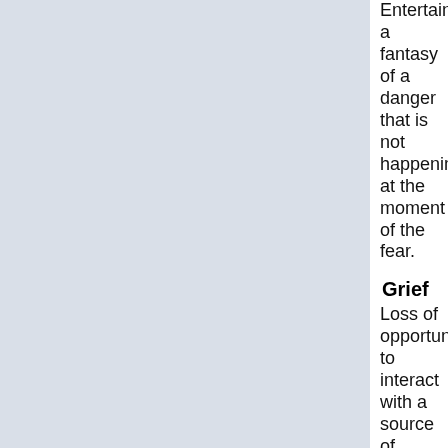Entertaining a fantasy of a danger that is not happening at the moment of the fear.
Grief
Loss of opportunity to interact with a source of attention or love, often fear over an undelivered communicat
Guilt
Indulging in a concern over a